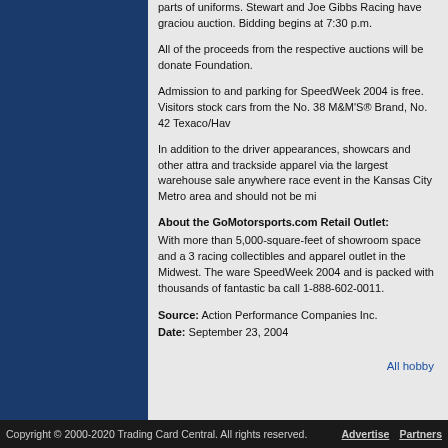parts of uniforms. Stewart and Joe Gibbs Racing have graciously donated items for auction. Bidding begins at 7:30 p.m.
All of the proceeds from the respective auctions will be donated to Foundation.
Admission to and parking for SpeedWeek 2004 is free. Visitors stock cars from the No. 38 M&M'S® Brand, No. 42 Texaco/Hav
In addition to the driver appearances, showcars and other attra and trackside apparel via the largest warehouse sale anywhere race event in the Kansas City Metro area and should not be mi
About the GoMotorsports.com Retail Outlet:
With more than 5,000-square-feet of showroom space and a 3 racing collectibles and apparel outlet in the Midwest. The ware SpeedWeek 2004 and is packed with thousands of fantastic ba call 1-888-602-0011.
Source: Action Performance Companies Inc.
Date: September 23, 2004
All hobby
Copyright © 2000-2020 Trading Card Central. All rights reserved.    Advertise   Partners